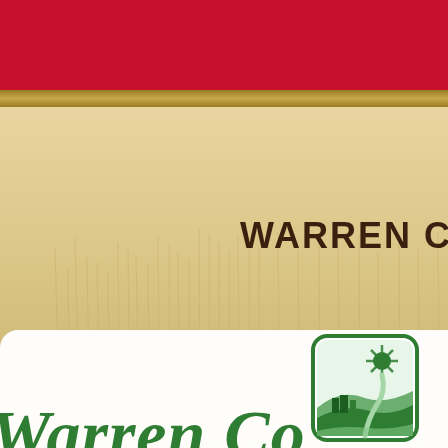[Figure (illustration): Red top banner with gold/brown stripe and wheat field background photo]
WARREN COUNT
[Figure (logo): Warren County logo: green rounded square with sun rays, farmland, and a winding road scene]
Warren Co